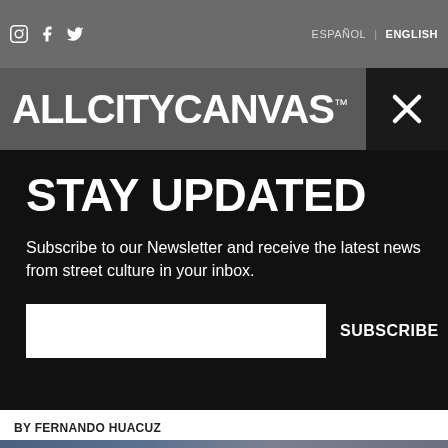ESPAÑOL | ENGLISH
ALLCITYCANVAS™
STAY UPDATED
Subscribe to our Newsletter and receive the latest news from street culture in your inbox.
SUBSCRIBE
BY FERNANDO HUACUZ